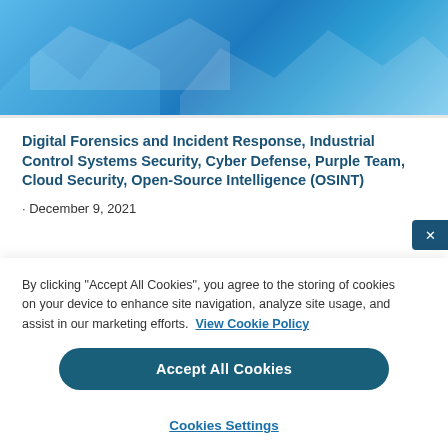[Figure (illustration): Abstract blue mountain/wave graphic banner at top of page]
Digital Forensics and Incident Response, Industrial Control Systems Security, Cyber Defense, Purple Team, Cloud Security, Open-Source Intelligence (OSINT)
· December 9, 2021
By clicking "Accept All Cookies", you agree to the storing of cookies on your device to enhance site navigation, analyze site usage, and assist in our marketing efforts.  View Cookie Policy
Accept All Cookies
Cookies Settings